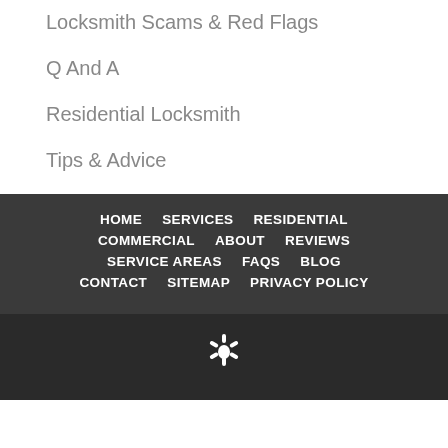Locksmith Scams & Red Flags
Q And A
Residential Locksmith
Tips & Advice
HOME  SERVICES  RESIDENTIAL  COMMERCIAL  ABOUT  REVIEWS  SERVICE AREAS  FAQS  BLOG  CONTACT  SITEMAP  PRIVACY POLICY
[Figure (logo): Yelp star/burst logo icon in white]